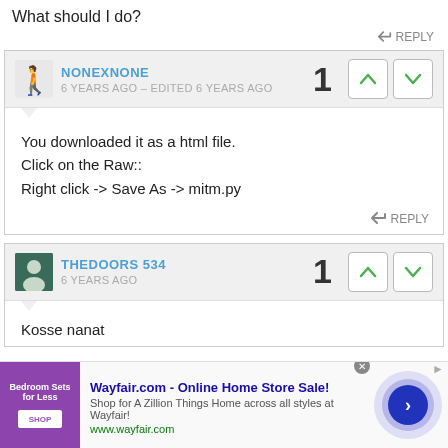What should I do?
REPLY
NONEXNONE
6 YEARS AGO – EDITED 6 YEARS AGO
You downloaded it as a html file.
Click on the Raw::
Right click -> Save As -> mitm.py
REPLY
THEDOORS 534
6 YEARS AGO
Kosse nanat
[Figure (screenshot): Advertisement banner for Wayfair.com - Online Home Store Sale! with bedroom furniture image and navigation arrow button]